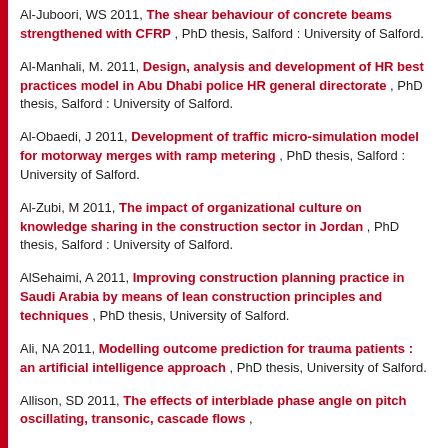Al-Juboori, WS 2011, The shear behaviour of concrete beams strengthened with CFRP , PhD thesis, Salford : University of Salford.
Al-Manhali, M. 2011, Design, analysis and development of HR best practices model in Abu Dhabi police HR general directorate , PhD thesis, Salford : University of Salford.
Al-Obaedi, J 2011, Development of traffic micro-simulation model for motorway merges with ramp metering , PhD thesis, Salford : University of Salford.
Al-Zubi, M 2011, The impact of organizational culture on knowledge sharing in the construction sector in Jordan , PhD thesis, Salford : University of Salford.
AlSehaimi, A 2011, Improving construction planning practice in Saudi Arabia by means of lean construction principles and techniques , PhD thesis, University of Salford.
Ali, NA 2011, Modelling outcome prediction for trauma patients : an artificial intelligence approach , PhD thesis, University of Salford.
Allison, SD 2011, The effects of interblade phase angle on pitch oscillating, transonic, cascade flows ,